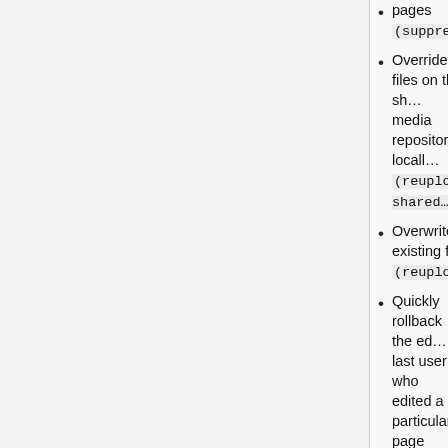pages (suppressredirec…
Override files on the shared media repository locall… (reupload-shared…
Overwrite existing files (reupload)
Quickly rollback the ed… last user who edited a particular page (roll…
Search deleted pages (browsearchive)
Unblock oneself (unblockself)
Undelete a page (undelete)
Upload files (upload…
Use higher limits in AP… (apihighlimits)